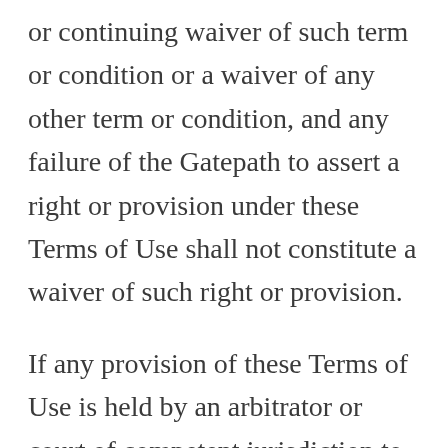or continuing waiver of such term or condition or a waiver of any other term or condition, and any failure of the Gatepath to assert a right or provision under these Terms of Use shall not constitute a waiver of such right or provision.
If any provision of these Terms of Use is held by an arbitrator or court of competent jurisdiction to be invalid, illegal or unenforceable for any reason, such provision shall be eliminated or